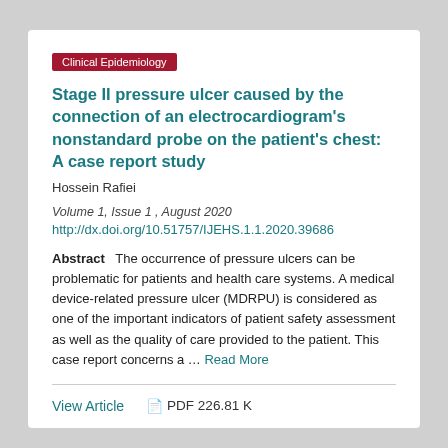Clinical Epidemiology
Stage II pressure ulcer caused by the connection of an electrocardiogram's nonstandard probe on the patient's chest: A case report study
Hossein Rafiei
Volume 1, Issue 1 , August 2020
http://dx.doi.org/10.51757/IJEHS.1.1.2020.39686
Abstract   The occurrence of pressure ulcers can be problematic for patients and health care systems. A medical device-related pressure ulcer (MDRPU) is considered as one of the important indicators of patient safety assessment as well as the quality of care provided to the patient. This case report concerns a ... Read More
View Article
PDF 226.81 K